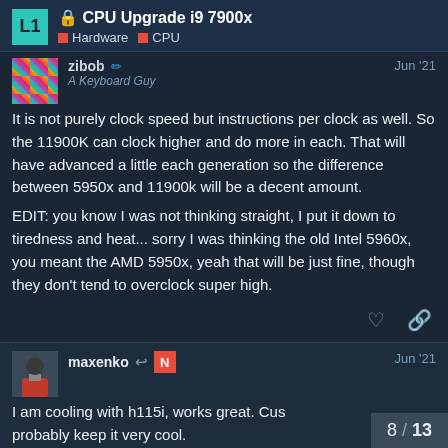CPU Upgrade i9 7900x — Hardware, CPU
zibob
A Keyboard Guy
Jun '21
It is not purely clock speed but instructions per clock as well. So the 11900K can clock higher and do more in each. That will have advanced a little each generation so the difference between 5950x and 11900k will be a decent amount.

EDIT: you know I was not thinking straight, I put it down to tiredness and heat... sorry I was thinking the old Intel 5960x, you meant the AMD 5950x, yeah that will be just fine, though they don't tend to overclock super high.
maxenko
Jun '21
I am cooling with h115i, works great. Cus
probably keep it very cool.
8 / 13